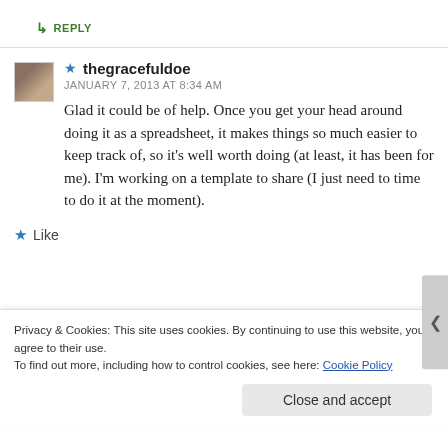↳ REPLY
★ thegracefuldoe
JANUARY 7, 2013 AT 8:34 AM
Glad it could be of help. Once you get your head around doing it as a spreadsheet, it makes things so much easier to keep track of, so it's well worth doing (at least, it has been for me). I'm working on a template to share (I just need to time to do it at the moment).
★ Like
Privacy & Cookies: This site uses cookies. By continuing to use this website, you agree to their use.
To find out more, including how to control cookies, see here: Cookie Policy
Close and accept